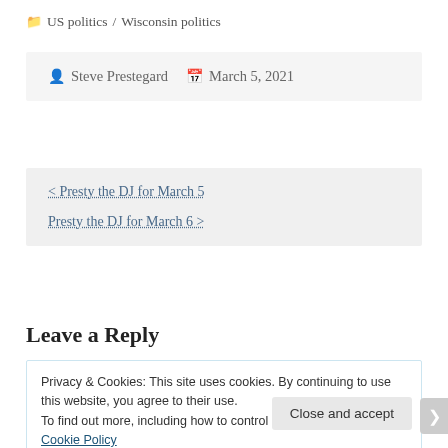US politics / Wisconsin politics
Steve Prestegard   March 5, 2021
< Presty the DJ for March 5
Presty the DJ for March 6 >
Leave a Reply
Privacy & Cookies: This site uses cookies. By continuing to use this website, you agree to their use.
To find out more, including how to control cookies, see here: Cookie Policy
Close and accept